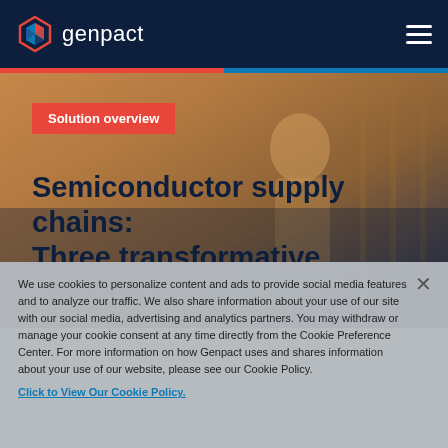genpact
[Figure (photo): Background photo of people working, dark industrial/warehouse setting with warm tones]
Solution overview
Semiconductor supply chains: Three transformative solutions
We use cookies to personalize content and ads to provide social media features and to analyze our traffic. We also share information about your use of our site with our social media, advertising and analytics partners. You may withdraw or manage your cookie consent at any time directly from the Cookie Preference Center. For more information on how Genpact uses and shares information about your use of our website, please see our Cookie Policy. Click to View Our Cookie Policy.